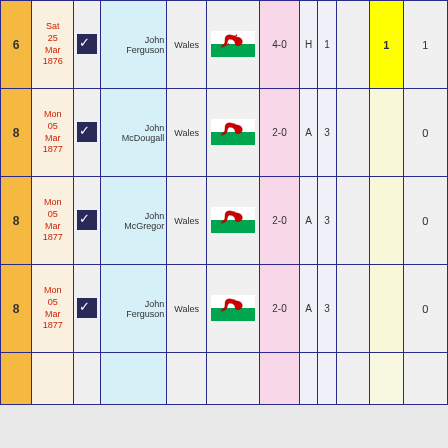| # | Date | ✓ | Name | Opp | Flag | Score | H/A | N |  | Goals | Total |
| --- | --- | --- | --- | --- | --- | --- | --- | --- | --- | --- | --- |
| 6 | Sat 25 Mar 1876 | ✓ | John Ferguson | Wales | [flag] | 4-0 | H | 1 |  | 1 | 1 |
| 8 | Mon 05 Mar 1877 | ✓ | John McDougall | Wales | [flag] | 2-0 | A | 3 |  |  | 0 |
| 8 | Mon 05 Mar 1877 | ✓ | John McGregor | Wales | [flag] | 2-0 | A | 3 |  |  | 0 |
| 8 | Mon 05 Mar 1877 | ✓ | John Ferguson | Wales | [flag] | 2-0 | A | 3 |  |  | 0 |
|  |  |  |  |  |  |  |  |  |  |  |  |